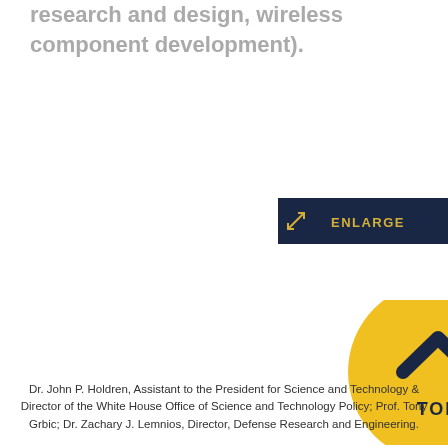research and design, wireless component development).
[Figure (other): Dark navy blue rectangular button with yellow text and arrow icon reading 'ENLARGE']
[Figure (other): Yellow circular button with dark navy chevron/up arrow icon and text 'TOP']
Dr. John P. Holdren, Assistant to the President for Science and Technology & Director of the White House Office of Science and Technology Policy; Prof. Tony Grbic; Dr. Zachary J. Lemnios, Director, Defense Research and Engineering.